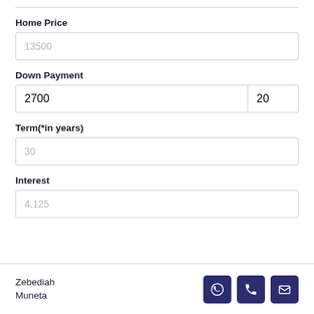Home Price
13500
Down Payment
2700 | 20
Term(*in years)
30
Interest
4.125
Zebediah Muneta